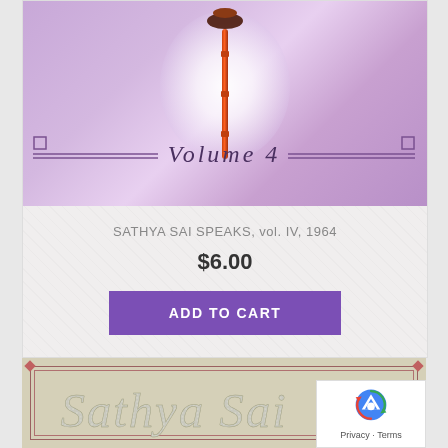[Figure (photo): Book cover of Sathya Sai Speaks Volume 4 with purple/lavender background, glowing white orb, orange/red scepter, and 'Volume 4' text with decorative border]
SATHYA SAI SPEAKS, vol. IV, 1964
$6.00
ADD TO CART
[Figure (photo): Book cover with beige/tan background showing decorative frame with corner ornaments and stylized 'Sathya Sai' text in glittery letters]